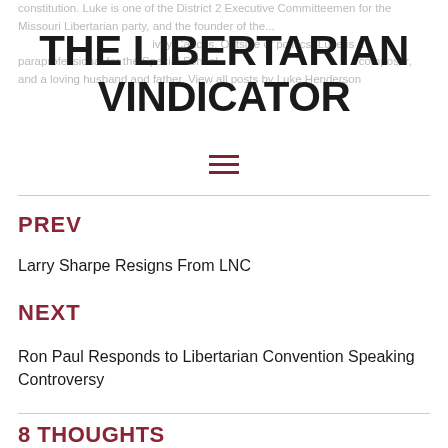constitution. Luke is one of the District 2 Executive Committeemen for the Missouri Libertarian party, and the founder of the... Caucus. Outside of politics, Luke is a paraprofessional for the Special School... composer, and a loving husband and father. View all posts by Luke Henderson
THE LIBERTARIAN VINDICATOR
[Figure (other): Hamburger menu icon (three horizontal lines) in dark red/maroon color]
PREV
Larry Sharpe Resigns From LNC
NEXT
Ron Paul Responds to Libertarian Convention Speaking Controversy
8 THOUGHTS